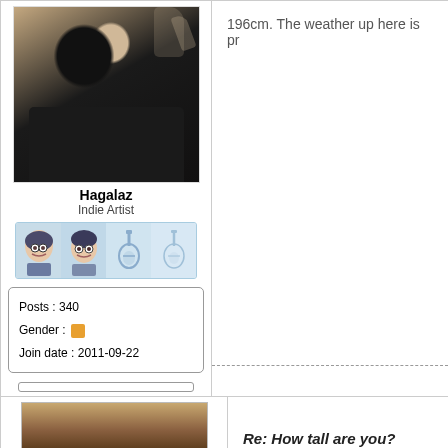[Figure (photo): Profile photo of user Hagalaz making a peace sign, wearing a dark t-shirt]
Hagalaz
Indie Artist
[Figure (illustration): Strip of four avatar/icon thumbnails with anime-style character faces and guitar icons on blue background]
Posts : 340
Gender : [icon]
Join date : 2011-09-22
196cm. The weather up here is pr
[Figure (photo): Partial profile photo visible at bottom left, showing warm tones]
Re: How tall are you?